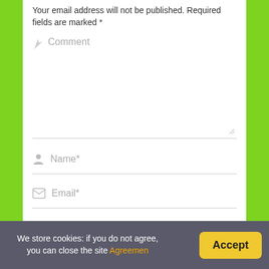Your email address will not be published. Required fields are marked *
Comment
Name*
Email*
Website
We store cookies: if you do not agree, you can close the site Agreemen